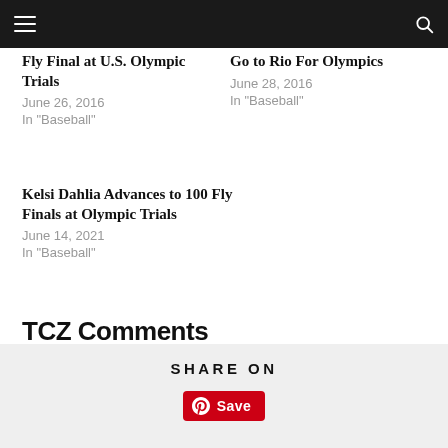Navigation bar with menu and search icons
Fly Final at U.S. Olympic Trials
June 26, 2016
In "Baseball"
Go to Rio For Olympics
June 28, 2016
In "Baseball"
Kelsi Dahlia Advances to 100 Fly Finals at Olympic Trials
June 14, 2021
In "Baseball"
TCZ Comments
comments
SHARE ON
Save